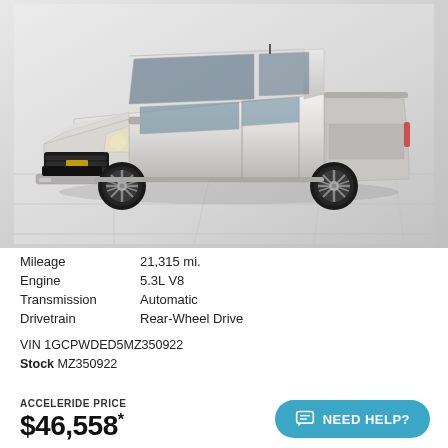[Figure (photo): Silver Chevrolet Silverado pickup truck photographed three-quarter front view on a tiled floor showroom surface]
| Mileage | 21,315 mi. |
| Engine | 5.3L V8 |
| Transmission | Automatic |
| Drivetrain | Rear-Wheel Drive |
VIN 1GCPWDED5MZ350922
Stock MZ350922
ACCELERIDE PRICE
$46,558*
NEED HELP?